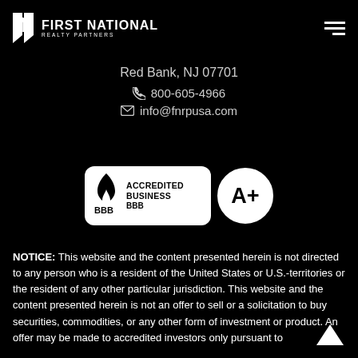[Figure (logo): First National Realty Partners logo — white FN icon with text 'FIRST NATIONAL REALTY PARTNERS' on black background]
Red Bank, NJ 07701
📞 800-605-4966
✉ info@fnrpusa.com
[Figure (logo): BBB Accredited Business A+ badge — white rounded rectangle with BBB flame logo, text 'ACCREDITED BUSINESS', and a circular A+ rating badge]
NOTICE: This website and the content presented herein is not directed to any person who is a resident of the United States or U.S.-territories or the resident of any other particular jurisdiction. This website and the content presented herein is not an offer to sell or a solicitation to buy securities, commodities, or any other form of investment or product. An offer may be made to accredited investors only pursuant to